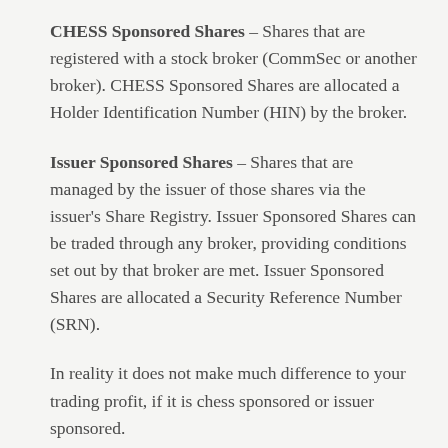CHESS Sponsored Shares – Shares that are registered with a stock broker (CommSec or another broker). CHESS Sponsored Shares are allocated a Holder Identification Number (HIN) by the broker.
Issuer Sponsored Shares – Shares that are managed by the issuer of those shares via the issuer's Share Registry. Issuer Sponsored Shares can be traded through any broker, providing conditions set out by that broker are met. Issuer Sponsored Shares are allocated a Security Reference Number (SRN).
In reality it does not make much difference to your trading profit, if it is chess sponsored or issuer sponsored.